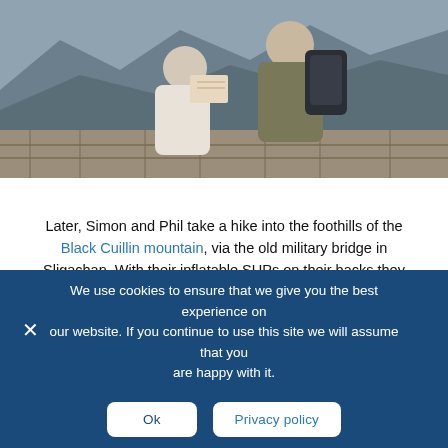[Figure (photo): Two hikers with backpacks looking at a map in a mountainous landscape. One wears a blue-yellow plaid shirt, the other a white knit sweater. Mountains visible in background.]
Later, Simon and Phil take a hike into the foothills of the Black Cuillin mountain, via the old military bridge in Sligachan. With their inflatable SUPs on their backs they follow the path up to its snow-capped peak, admiring the views and soaring eagles en route. It's been a packed day, but after they descend they still find the energy for a whistle stop tour of the new Torabhaig Distillery – the perfect place to learn about the craft of whisky-making (and select a
We use cookies to ensure that we give you the best experience on our website. If you continue to use this site we will assume that you are happy with it.